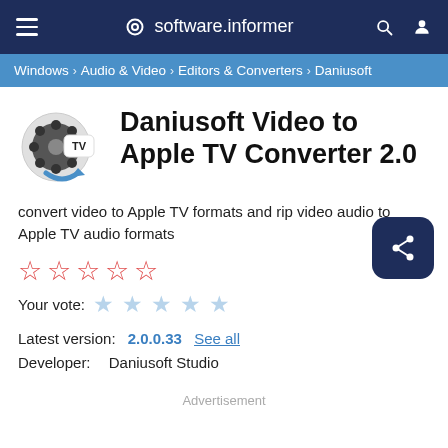software.informer
Windows › Audio & Video › Editors & Converters › Daniusoft
Daniusoft Video to Apple TV Converter 2.0
convert video to Apple TV formats and rip video audio to Apple TV audio formats
★★★★★ (rating stars outline)
Your vote:
Latest version: 2.0.0.33 See all
Developer: Daniusoft Studio
Advertisement